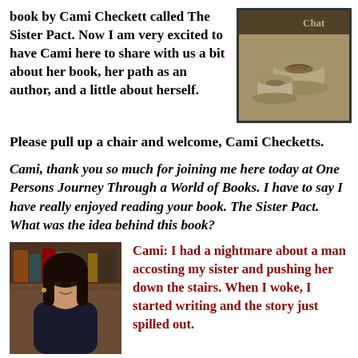book by Cami Checkett called The Sister Pact.  Now I am very excited to have Cami here to share with us a bit about her book, her path as an author, and a little about herself.
[Figure (photo): Coffee cups with latte art, sepia-toned photo with 'Chat' text at top, framed with dark border]
Please pull up a chair and welcome, Cami Checketts.
Cami, thank you so much for joining me here today at One Persons Journey Through a World of Books.  I have to say I have really enjoyed  reading your book. The Sister Pact.  What was the idea behind this book?
[Figure (photo): Photo of a woman (Cami Checketts), dark hair, wearing dark clothing, bookshelf visible in background]
Cami:  I had a nightmare about a man accosting my sister and pushing her down the stairs. When I woke, I started writing and the story just spilled out.